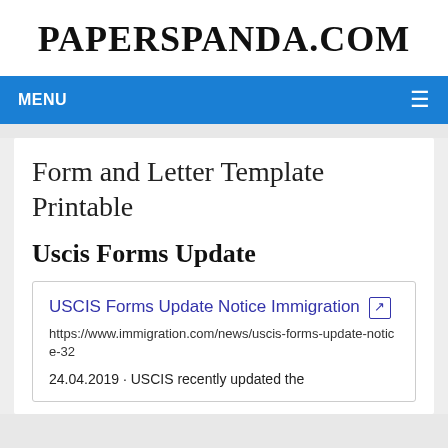PAPERSPANDA.COM
MENU
Form and Letter Template Printable
Uscis Forms Update
USCIS Forms Update Notice Immigration [external link icon]
https://www.immigration.com/news/uscis-forms-update-notice-32
24.04.2019 · USCIS recently updated the